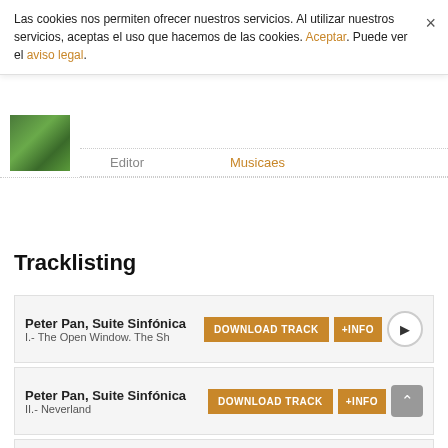Las cookies nos permiten ofrecer nuestros servicios. Al utilizar nuestros servicios, aceptas el uso que hacemos de las cookies. Aceptar. Puede ver el aviso legal.
Editor  Musicaes
Tracklisting
Peter Pan, Suite Sinfónica  I.- The Open Window. The Sh...  DOWNLOAD TRACK  +INFO
Peter Pan, Suite Sinfónica  II.- Neverland  DOWNLOAD TRACK  +INFO
Peter Pan, Suite Sinfónica